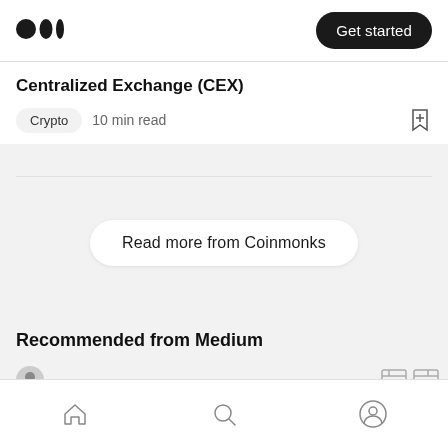Medium logo | Get started
Centralized Exchange (CEX)
Crypto  10 min read
Read more from Coinmonks
Recommended from Medium
Home | Search | Profile